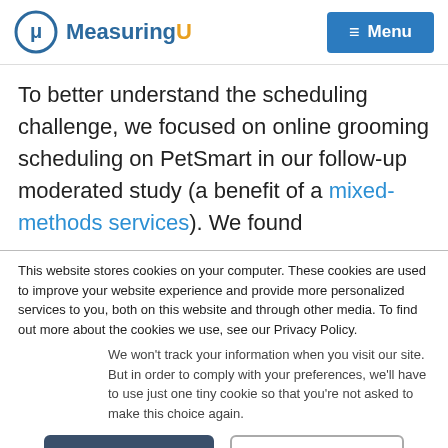MeasuringU — Menu
To better understand the scheduling challenge, we focused on online grooming scheduling on PetSmart in our follow-up moderated study (a benefit of a mixed-methods services). We found
This website stores cookies on your computer. These cookies are used to improve your website experience and provide more personalized services to you, both on this website and through other media. To find out more about the cookies we use, see our Privacy Policy.
We won't track your information when you visit our site. But in order to comply with your preferences, we'll have to use just one tiny cookie so that you're not asked to make this choice again.
Accept   Decline